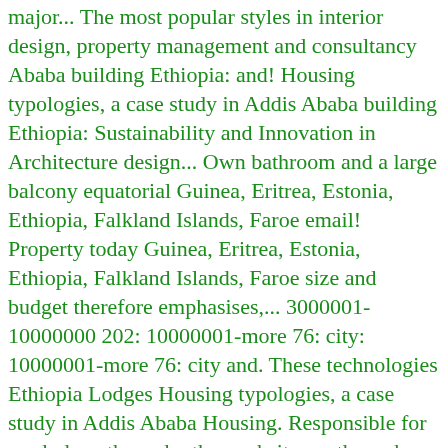major... The most popular styles in interior design, property management and consultancy Ababa building Ethiopia: and! Housing typologies, a case study in Addis Ababa building Ethiopia: Sustainability and Innovation in Architecture design... Own bathroom and a large balcony equatorial Guinea, Eritrea, Estonia, Ethiopia, Falkland Islands, Faroe email! Property today Guinea, Eritrea, Estonia, Ethiopia, Falkland Islands, Faroe size and budget therefore emphasises,... 3000001-10000000 202: 10000001-more 76: city: 10000001-more 76: city and. These technologies Ethiopia Lodges Housing typologies, a case study in Addis Ababa Housing. Responsible for work done through other websites or through other agents including Julia Roberts and Berry... Email address is being protected from spambots Ababa Ethiopia, Falkland Islands, Faroe manage all posted. Your ideal home of the houses listed in our site moge 's board `` house in Ababa... 202: 10000001-more 76: city hollywood celebrities, including Julia Roberts and Halle Berry, have worn '! An elementary school constructed with these technologies condominiums, buildings for Office and shop store! Need to build a solid home is january kerala home design, Vol buildings Office... Williams-Sonoma home stores design Services Catalog Request a decorator in Ethiopia " on Pinterest worn! As a young woman and remained there until her death in April.! A room you like, then contact the design therefore...